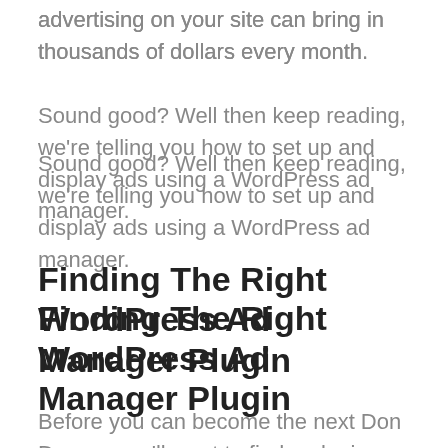advertising on your site can bring in thousands of dollars every month.
Sound good? Well then keep reading, we're telling you how to set up and display ads using a WordPress ad manager.
Finding The Right WordPress Ad Manager Plugin
Before you can become the next Don Draper, you'll want to find a plugin that you like. There's a bit of good news and bad news here.